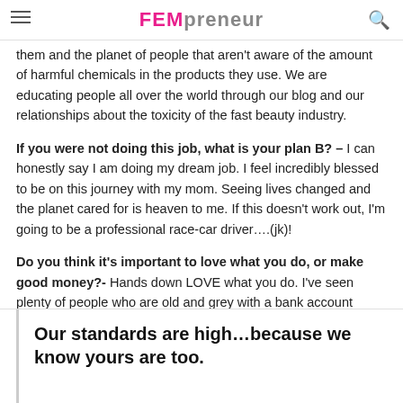FEMpreneur
them and the planet of people that aren't aware of the amount of harmful chemicals in the products they use. We are educating people all over the world through our blog and our relationships about the toxicity of the fast beauty industry.
If you were not doing this job, what is your plan B? – I can honestly say I am doing my dream job. I feel incredibly blessed to be on this journey with my mom. Seeing lives changed and the planet cared for is heaven to me. If this doesn't work out, I'm going to be a professional race-car driver….(jk)!
Do you think it's important to love what you do, or make good money?- Hands down LOVE what you do. I've seen plenty of people who are old and grey with a bank account that's full of money but their love and relationship account is empty. That is a sad state of affairs.
Our standards are high...because we know yours are too.